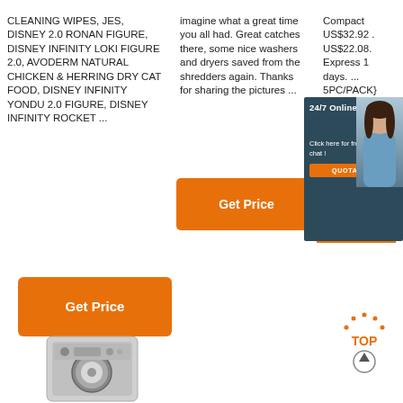CLEANING WIPES, JES, DISNEY 2.0 RONAN FIGURE, DISNEY INFINITY LOKI FIGURE 2.0, AVODERM NATURAL CHICKEN & HERRING DRY CAT FOOD, DISNEY INFINITY YONDU 2.0 FIGURE, DISNEY INFINITY ROCKET ...
imagine what a great time you all had. Great catches there, some nice washers and dryers saved from the shredders again. Thanks for sharing the pictures ...
Compact US$32.92 . US$22.08. Express 1 days. ... 5PC/PACK} 3M Scotch Brite Dishwasher Sponge Heavy Duty Value Super Cl... US$3.74
[Figure (other): Orange Get Price button under column 2 text]
[Figure (other): Orange Get Price button under column 3 text (partially visible)]
[Figure (other): 24/7 Online chat overlay with agent photo, Click here for free chat, QUOTATION button]
[Figure (other): Orange Get Price button under column 1 text]
[Figure (other): TOP arrow button at bottom right]
[Figure (photo): Washing machine / washer appliance photo at bottom left]